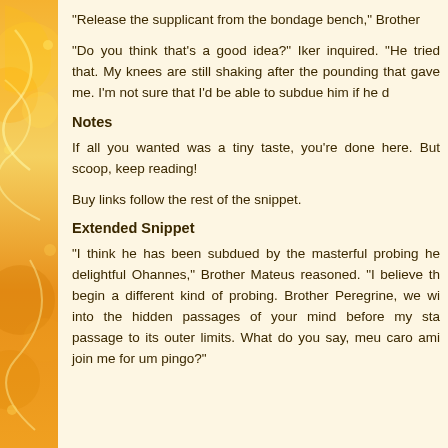“Release the supplicant from the bondage bench,” Brother
“Do you think that’s a good idea?” Iker inquired. “He tried that. My knees are still shaking after the pounding that gave me. I’m not sure that I’d be able to subdue him if he d
Notes
If all you wanted was a tiny taste, you’re done here. But scoop, keep reading!
Buy links follow the rest of the snippet.
Extended Snippet
“I think he has been subdued by the masterful probing he delightful Ohannes,” Brother Mateus reasoned. “I believe th begin a different kind of probing. Brother Peregrine, we wi into the hidden passages of your mind before my sta passage to its outer limits. What do you say, meu caro ami join me for um pingo?”